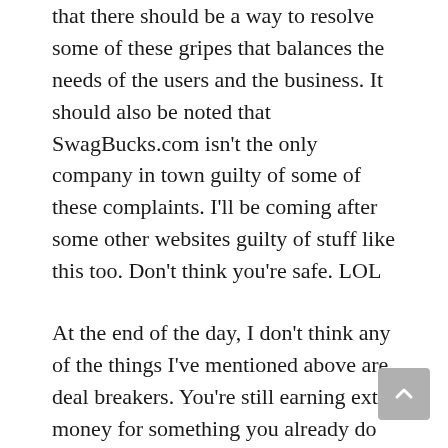that there should be a way to resolve some of these gripes that balances the needs of the users and the business. It should also be noted that SwagBucks.com isn't the only company in town guilty of some of these complaints. I'll be coming after some other websites guilty of stuff like this too. Don't think you're safe. LOL
At the end of the day, I don't think any of the things I've mentioned above are deal breakers. You're still earning extra money for something you already do unpaid. So earning any type of compensation is an added bonus! But like I said at the start of the article, there is always room for improvement. SwagBucks is a great legitimate company that continues